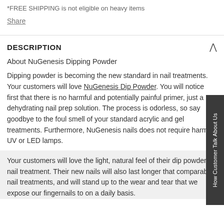*FREE SHIPPING is not eligible on heavy items
Share
DESCRIPTION
About NuGenesis Dipping Powder
Dipping powder is becoming the new standard in nail treatments. Your customers will love NuGenesis Dip Powder. You will notice first that there is no harmful and potentially painful primer, just a dehydrating nail prep solution. The process is odorless, so say goodbye to the foul smell of your standard acrylic and gel treatments. Furthermore, NuGenesis nails does not require harmful UV or LED lamps.
Your customers will love the light, natural feel of their dip powder nail treatment. Their new nails will also last longer that comparable nail treatments, and will stand up to the wear and tear that we expose our fingernails to on a daily basis.